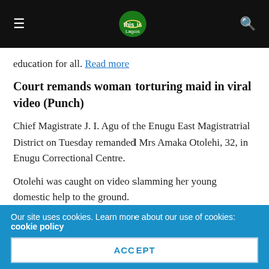[Navigation bar with hamburger menu, site logo, and search icon]
education for all. Read more
Court remands woman torturing maid in viral video (Punch)
Chief Magistrate J. I. Agu of the Enugu East Magistratial District on Tuesday remanded Mrs Amaka Otolehi, 32, in Enugu Correctional Centre.
Otolehi was caught on video slamming her young domestic help to the ground.
Otolehi was arraigned by the Enugu State Police Command
Our site uses cookies. Learn more about our use of cookies: cookie policy
ACCEPT